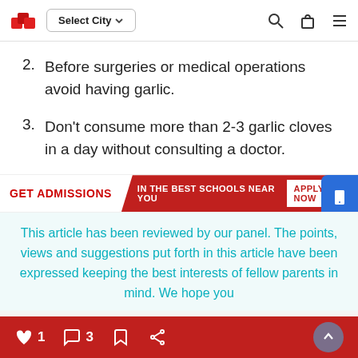Select City
2. Before surgeries or medical operations avoid having garlic.
3. Don't consume more than 2-3 garlic cloves in a day without consulting a doctor.
[Figure (screenshot): Advertisement banner: GET ADMISSIONS IN THE BEST SCHOOLS NEAR YOU APPLY NOW]
This article has been reviewed by our panel. The points, views and suggestions put forth in this article have been expressed keeping the best interests of fellow parents in mind. We hope you
1 like · 3 comments · bookmark · share